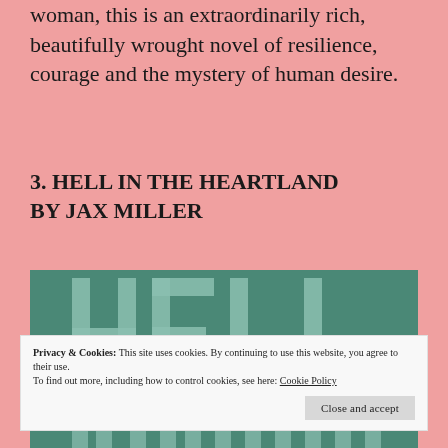woman, this is an extraordinarily rich, beautifully wrought novel of resilience, courage and the mystery of human desire.
3. HELL IN THE HEARTLAND BY JAX MILLER
[Figure (illustration): Book cover image showing large letters 'HELL' on a teal/green background, with partial bottom text visible]
Privacy & Cookies: This site uses cookies. By continuing to use this website, you agree to their use.
To find out more, including how to control cookies, see here: Cookie Policy
Close and accept